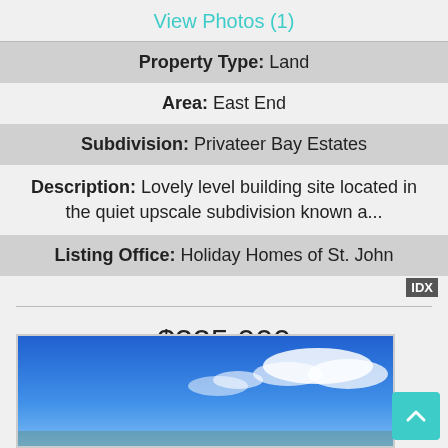View Photos (1)
| Property Type: | Land |
| Area: | East End |
| Subdivision: | Privateer Bay Estates |
| Description: | Lovely level building site located in the quiet upscale subdivision known a... |
| Listing Office: | Holiday Homes of St. John |
IDX
$325,000
3B-69 Sans Soucci & Guinea Gut
St John, VI 00830
[Figure (photo): Blue sky with clouds, outdoor property photo]